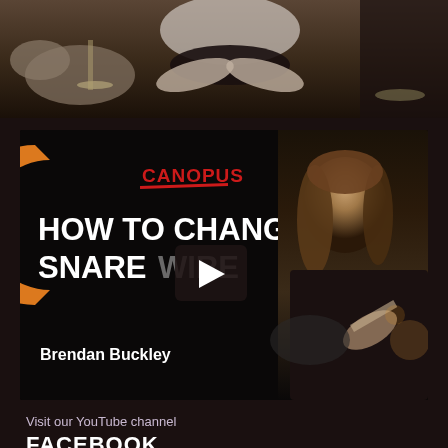[Figure (photo): Top portion showing musicians/drummers with arms crossed, dark background, concert scene]
[Figure (screenshot): Canopus video thumbnail showing 'HOW TO CHANGE SNARE WIRE' text with Canopus logo (orange C), play button overlay, Brendan Buckley credit, and photo of male drummer with long hair playing drums on right side]
Visit our YouTube channel
FACEBOOK